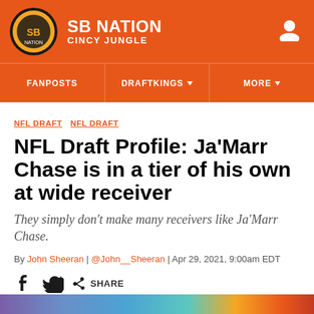SB NATION CINCY JUNGLE
NFL DRAFT NFL DRAFT
NFL Draft Profile: Ja'Marr Chase is in a tier of his own at wide receiver
They simply don't make many receivers like Ja'Marr Chase.
By John Sheeran | @John__Sheeran | Apr 29, 2021, 9:00am EDT